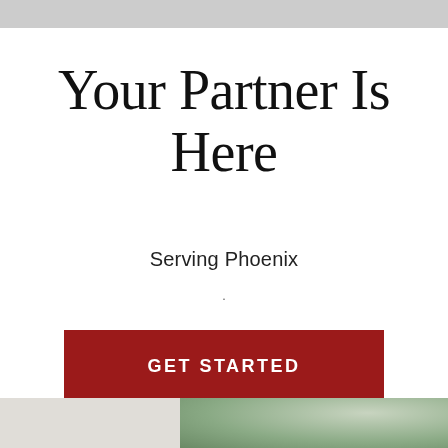Your Partner Is Here
Serving Phoenix
·
GET STARTED
[Figure (photo): Bottom strip showing two image sections: a light gray/beige area on the left and a green foliage/outdoor photo on the right]